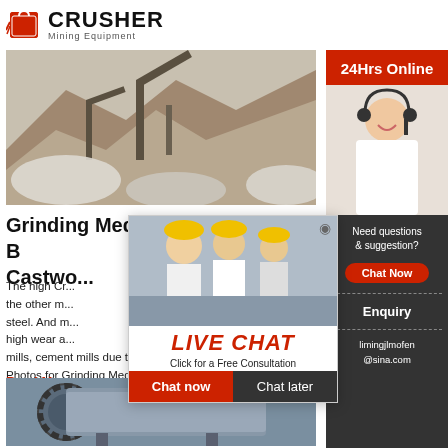[Figure (logo): Crusher Mining Equipment logo with red shopping bag icon and bold CRUSHER text]
[Figure (photo): Quarry/mining site with piles of crushed stone and industrial machinery]
Grinding Media Ball for Ball Mill – B... Castwo...
The high Cr... the other m... steel. And m... high wear a... mills, cement mills due to its excellent performa... Photos for Grinding Media Ball for Ball Mill:
Read More
[Figure (photo): Ball mill industrial machine with large gear and cylindrical drum]
[Figure (photo): Live chat popup overlay with workers in hard hats, LIVE CHAT heading, Click for a Free Consultation, Chat now and Chat later buttons]
[Figure (infographic): Right sidebar with 24Hrs Online header, customer service agent photo, Need questions & suggestion? text, Chat Now button, Enquiry section, and limingjlmofen@sina.com email]